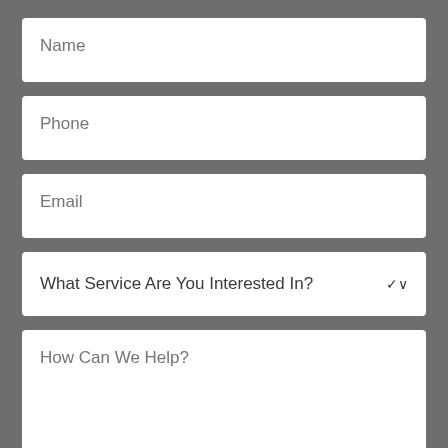Name
Phone
Email
What Service Are You Interested In?
How Can We Help?
Best Time To Reach You
Date